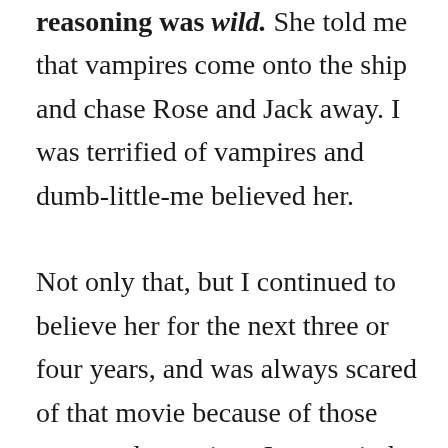reasoning was wild. She told me that vampires come onto the ship and chase Rose and Jack away. I was terrified of vampires and dumb-little-me believed her.

Not only that, but I continued to believe her for the next three or four years, and was always scared of that movie because of those supposed vampires. In my mind, it had become a horror movie. It was only when I was at my best friend's house and her